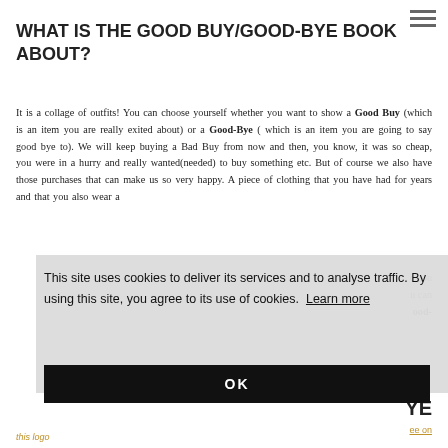WHAT IS THE GOOD BUY/GOOD-BYE BOOK ABOUT?
It is a collage of outfits! You can choose yourself whether you want to show a Good Buy (which is an item you are really exited about) or a Good-Bye ( which is an item you are going to say good bye to). We will keep buying a Bad Buy from now and then, you know, it was so cheap, you were in a hurry and really wanted(needed) to buy something etc. But of course we also have those purchases that can make us so very happy. A piece of clothing that you have had for years and that you also wear a [...]
This site uses cookies to deliver its services and to analyse traffic. By using this site, you agree to its use of cookies. Learn more
OK